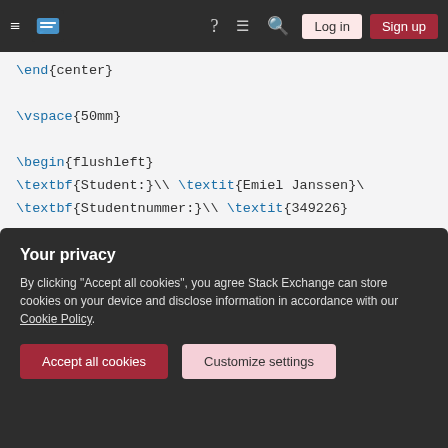Stack Exchange navigation bar with hamburger menu, logo, help, chat, search, Log in, Sign up buttons
\end{center}

\vspace{50mm}

\begin{flushleft}
\textbf{Student:}\\ \textit{Emiel Janssen}\
\textbf{Studentnummer:}\\ \textit{349226}

\textbf{Stagecoördinator:}\\ \textit{Joost
Senior Wetenschappelijk Forensisch Onderzoe
Your privacy
By clicking "Accept all cookies", you agree Stack Exchange can store cookies on your device and disclose information in accordance with our Cookie Policy.
Accept all cookies   Customize settings